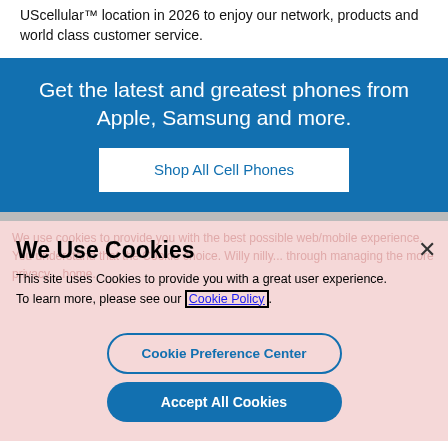UScellular™ location in 2026 to enjoy our network, products and world class customer service.
Get the latest and greatest phones from Apple, Samsung and more.
Shop All Cell Phones
We Use Cookies
This site uses Cookies to provide you with a great user experience. To learn more, please see our Cookie Policy.
Cookie Preference Center
Accept All Cookies